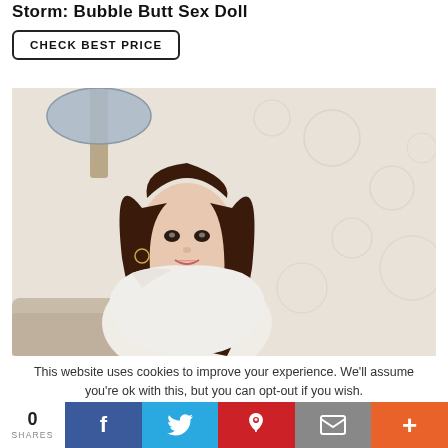Storm: Bubble Butt Sex Doll
CHECK BEST PRICE
[Figure (photo): A lifelike female doll with long brown hair wearing a white off-shoulder top, seated in a room with a lamp and floral wallpaper in the background.]
This website uses cookies to improve your experience. We'll assume you're ok with this, but you can opt-out if you wish.
0 SHARES